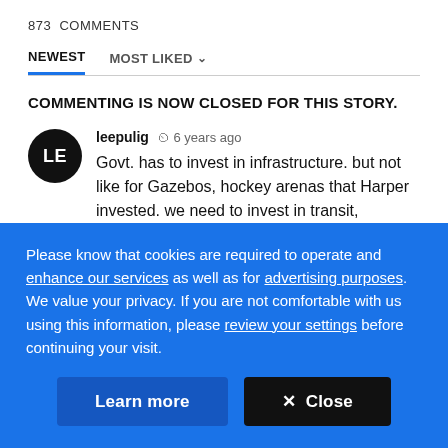873  COMMENTS
NEWEST   MOST LIKED
COMMENTING IS NOW CLOSED FOR THIS STORY.
leepulig  6 years ago
Govt. has to invest in infrastructure. but not like for Gazebos, hockey arenas that Harper invested. we need to invest in transit, affordable housing, green technology.
Please know that cookies are required to operate and enhance our services as well as for advertising purposes. We value your privacy. If you are not comfortable with us using this information, please review your settings before continuing your visit.
Learn more
✕  Close